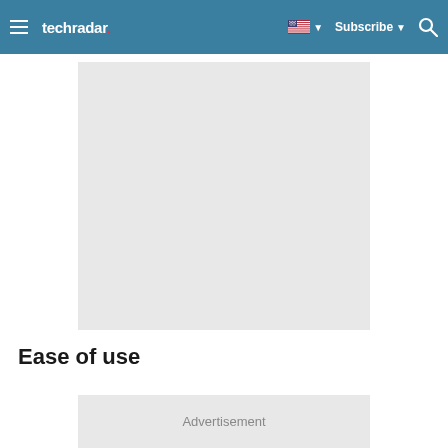techradar | Subscribe
[Figure (other): Gray placeholder image area for article content]
Ease of use
[Figure (other): Advertisement placeholder box]